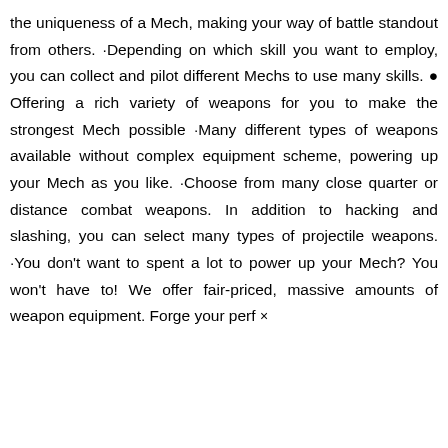the uniqueness of a Mech, making your way of battle standout from others. ·Depending on which skill you want to employ, you can collect and pilot different Mechs to use many skills. ● Offering a rich variety of weapons for you to make the strongest Mech possible ·Many different types of weapons available without complex equipment scheme, powering up your Mech as you like. ·Choose from many close quarter or distance combat weapons. In addition to hacking and slashing, you can select many types of projectile weapons. ·You don't want to spent a lot to power up your Mech? You won't have to! We offer fair-priced, massive amounts of weapon equipment. Forge your perf ×